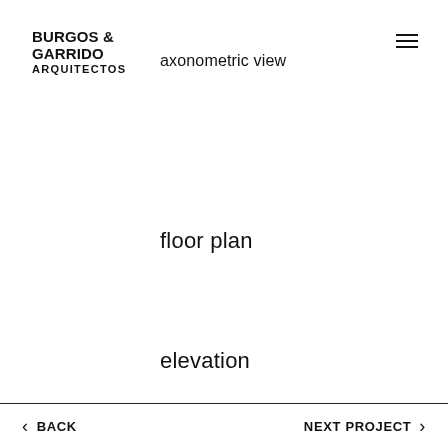BURGOS & GARRIDO ARQUITECTOS
axonometric view
floor plan
elevation
< BACK    NEXT PROJECT >